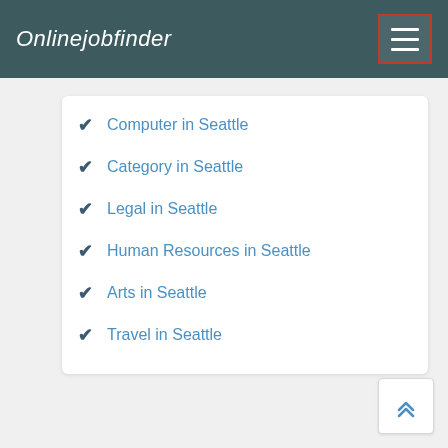Onlinejobfinder
Computer in Seattle
Category in Seattle
Legal in Seattle
Human Resources in Seattle
Arts in Seattle
Travel in Seattle